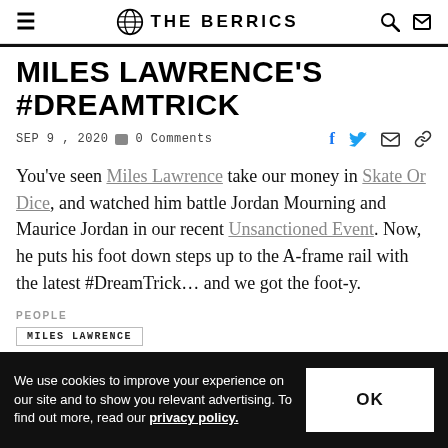THE BERRICS
MILES LAWRENCE'S #DREAMTRICK
SEP 9, 2020  0 Comments
You've seen Miles Lawrence take our money in Skate Or Dice, and watched him battle Jordan Mourning and Maurice Jordan in our recent Unsanctioned Event. Now, he puts his foot down steps up to the A-frame rail with the latest #DreamTrick… and we got the foot-y.
PEOPLE
MILES LAWRENCE
We use cookies to improve your experience on our site and to show you relevant advertising. To find out more, read our privacy policy.